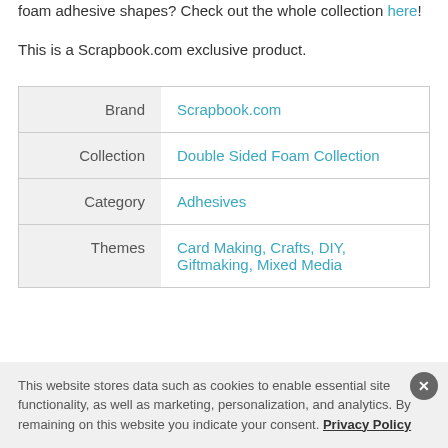foam adhesive shapes? Check out the whole collection here!
This is a Scrapbook.com exclusive product.
|  |  |
| --- | --- |
| Brand | Scrapbook.com |
| Collection | Double Sided Foam Collection |
| Category | Adhesives |
| Themes | Card Making, Crafts, DIY, Giftmaking, Mixed Media |
This website stores data such as cookies to enable essential site functionality, as well as marketing, personalization, and analytics. By remaining on this website you indicate your consent. Privacy Policy